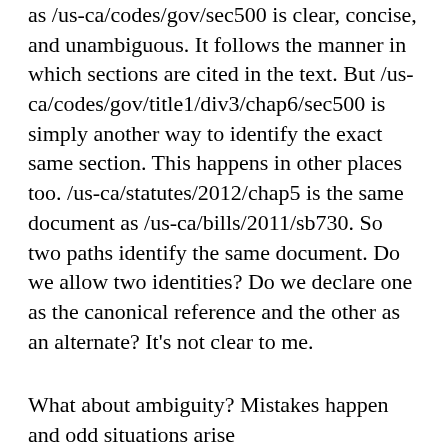as /us-ca/codes/gov/sec500 is clear, concise, and unambiguous. It follows the manner in which sections are cited in the text. But /us-ca/codes/gov/title1/div3/chap6/sec500 is simply another way to identify the exact same section. This happens in other places too. /us-ca/statutes/2012/chap5 is the same document as /us-ca/bills/2011/sb730. So two paths identify the same document. Do we allow two identities? Do we declare one as the canonical reference and the other as an alternate? It's not clear to me.
What about ambiguity? Mistakes happen and odd situations arise